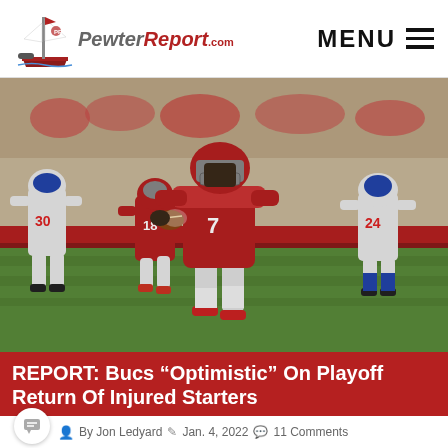[Figure (logo): PewterReport.com logo with pirate ship graphic on left and site name in red/gray italic text]
MENU ≡
[Figure (photo): NFL football game action photo showing Tampa Bay Buccaneers player #7 in red uniform running with the ball, pursued by Buffalo Bills defenders including #30 and #24 in white uniforms with blue/red trim, and teammate #18 in background, on natural grass field with red end zone boards visible]
REPORT: Bucs “Optimistic” On Playoff Return Of Injured Starters
By Jon Ledyard  Jan. 4, 2022  11 Comments